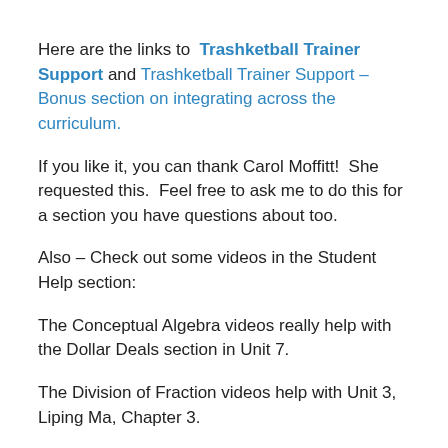Here are the links to Trashketball Trainer Support and Trashketball Trainer Support – Bonus section on integrating across the curriculum.
If you like it, you can thank Carol Moffitt!  She requested this.  Feel free to ask me to do this for a section you have questions about too.
Also – Check out some videos in the Student Help section:
The Conceptual Algebra videos really help with the Dollar Deals section in Unit 7.
The Division of Fraction videos help with Unit 3, Liping Ma, Chapter 3.